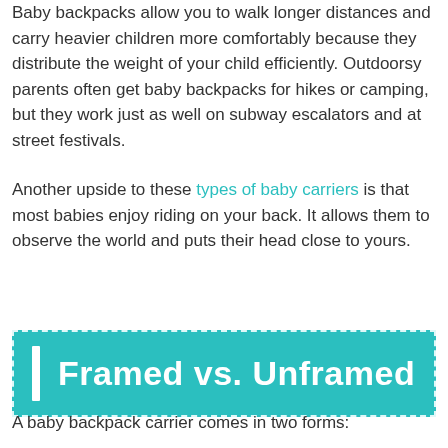Baby backpacks allow you to walk longer distances and carry heavier children more comfortably because they distribute the weight of your child efficiently. Outdoorsy parents often get baby backpacks for hikes or camping, but they work just as well on subway escalators and at street festivals.
Another upside to these types of baby carriers is that most babies enjoy riding on your back. It allows them to observe the world and puts their head close to yours.
Framed vs. Unframed
A baby backpack carrier comes in two forms: